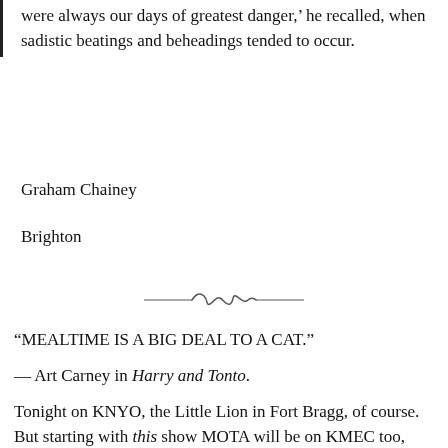were always our days of greatest danger,' he recalled, when sadistic beatings and beheadings tended to occur.
Graham Chainey
Brighton
[Figure (illustration): Decorative typographic divider ornament, a stylized scroll or wave design between two horizontal lines]
“MEALTIME IS A BIG DEAL TO A CAT.”
— Art Carney in Harry and Tonto.
Tonight on KNYO, the Little Lion in Fort Bragg, of course. But starting with this show MOTA will be on KMEC too, with its Ukiah audience, from the beginning, at 9pm, not waiting till midnight to be included there,